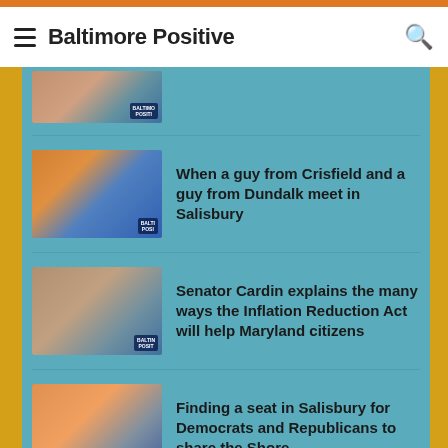Baltimore Positive
[Figure (screenshot): Partially visible thumbnail of podcast/show]
When a guy from Crisfield and a guy from Dundalk meet in Salisbury
Senator Cardin explains the many ways the Inflation Reduction Act will help Maryland citizens
Finding a seat in Salisbury for Democrats and Republicans to share the Shore
The business of reporting the business of